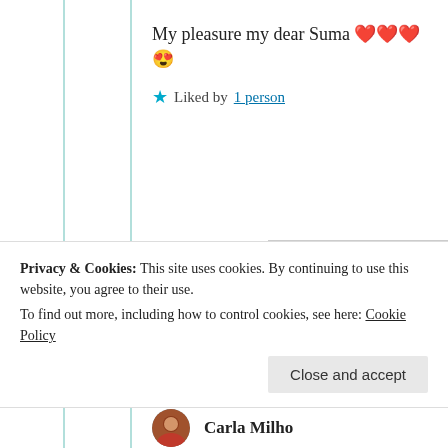My pleasure my dear Suma ❤️❤️❤️😍
★ Liked by 1 person
Suma Reddy
22nd Jun 2021 at 3:33 pm
🤗❤️
Privacy & Cookies: This site uses cookies. By continuing to use this website, you agree to their use. To find out more, including how to control cookies, see here: Cookie Policy
Close and accept
Carla Milho